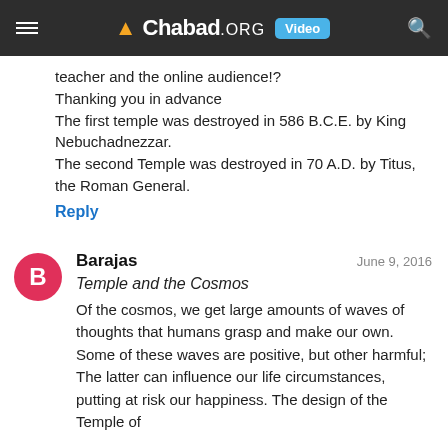Chabad.ORG Video
teacher and the online audience!? Thanking you in advance The first temple was destroyed in 586 B.C.E. by King Nebuchadnezzar. The second Temple was destroyed in 70 A.D. by Titus, the Roman General.
Reply
Barajas — June 9, 2016
Temple and the Cosmos
Of the cosmos, we get large amounts of waves of thoughts that humans grasp and make our own. Some of these waves are positive, but other harmful; The latter can influence our life circumstances, putting at risk our happiness. The design of the Temple of